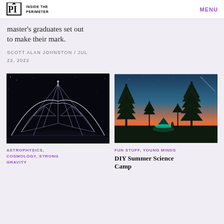INSIDE THE PERIMETER | MENU
master's graduates set out to make their mark.
SCOTT ALAN JOHNSTON / JUL 22, 2022
[Figure (photo): Night photograph of a large radio telescope array with geometric wire structure against a dark sky]
ASTROPHYSICS, COSMOLOGY, STRONG GRAVITY
[Figure (photo): Night photograph of tall pine trees with a glowing tent and twilight sky with a meteor streak]
FUN STUFF, YOUNG MINDS
DIY Summer Science Camp